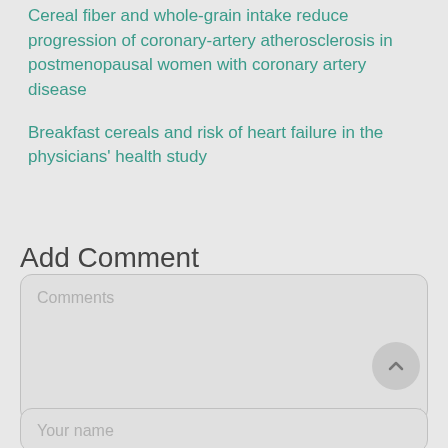Cereal fiber and whole-grain intake reduce progression of coronary-artery atherosclerosis in postmenopausal women with coronary artery disease
Breakfast cereals and risk of heart failure in the physicians' health study
Add Comment
Comments
Your name